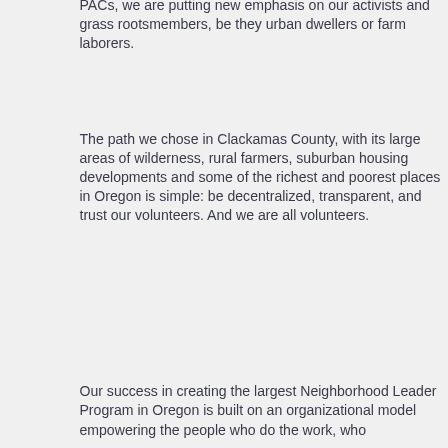PACs, we are putting new emphasis on our activists and grass rootsmembers, be they urban dwellers or farm laborers.
The path we chose in Clackamas County, with its large areas of wilderness, rural farmers, suburban housing developments and some of the richest and poorest places in Oregon is simple: be decentralized, transparent, and trust our volunteers. And we are all volunteers.
Our success in creating the largest Neighborhood Leader Program in Oregon is built on an organizational model empowering the people who do the work, who